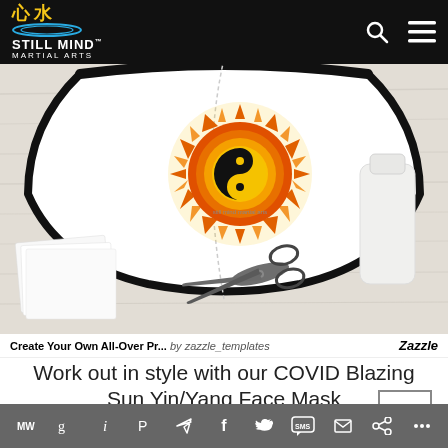STILL MIND MARTIAL ARTS
[Figure (photo): A face mask with a Blazing Sun Yin/Yang design laid flat on a wooden surface, with scissors and white papers visible. Black border straps on the mask.]
Create Your Own All-Over Pr... by zazzle_templates   Zazzle
Work out in style with our COVID Blazing Sun Yin/Yang Face Mask
Social share bar: MW, G, i, P, send, f, Twitter, SMS, mail, share icons